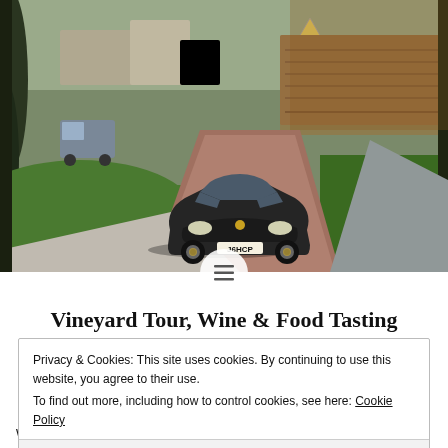[Figure (photo): A black sports car (Ferrari) driving on a brick/paved road at a vineyard or estate, with autumn-colored vine rows on the right, green grass, trees framing the scene, and a grey van visible in the background left.]
Vineyard Tour, Wine & Food Tasting
Privacy & Cookies: This site uses cookies. By continuing to use this website, you agree to their use.
To find out more, including how to control cookies, see here: Cookie Policy
Close and accept
weather and came in their club cars. Set in the Surrey Hills